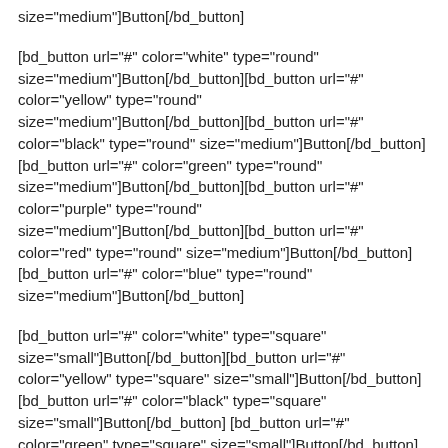size="medium"]Button[/bd_button]
[bd_button url="#" color="white" type="round" size="medium"]Button[/bd_button][bd_button url="#" color="yellow" type="round" size="medium"]Button[/bd_button][bd_button url="#" color="black" type="round" size="medium"]Button[/bd_button] [bd_button url="#" color="green" type="round" size="medium"]Button[/bd_button][bd_button url="#" color="purple" type="round" size="medium"]Button[/bd_button][bd_button url="#" color="red" type="round" size="medium"]Button[/bd_button] [bd_button url="#" color="blue" type="round" size="medium"]Button[/bd_button]
[bd_button url="#" color="white" type="square" size="small"]Button[/bd_button][bd_button url="#" color="yellow" type="square" size="small"]Button[/bd_button][bd_button url="#" color="black" type="square" size="small"]Button[/bd_button] [bd_button url="#" color="green" type="square" size="small"]Button[/bd_button][bd_button url="#" color="purple" type="square" size="small"]Button[/bd_button][bd_button url="#" color="red" type="square" size="small"]Button[/bd_button] [bd_button url="#" color="blue" type="square"